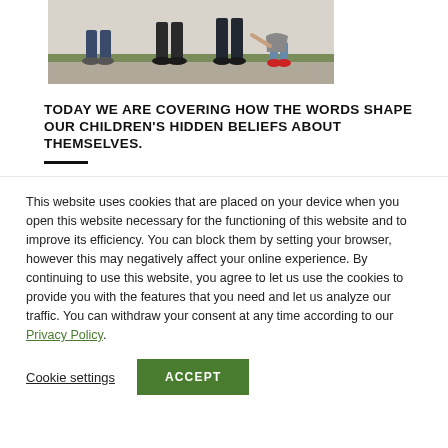[Figure (photo): A photograph of a family walking along a sidewalk — adults and a small child — seen from the waist down, with grass and a wall in the background.]
TODAY WE ARE COVERING HOW THE WORDS SHAPE OUR CHILDREN'S HIDDEN BELIEFS ABOUT THEMSELVES.
This website uses cookies that are placed on your device when you open this website necessary for the functioning of this website and to improve its efficiency. You can block them by setting your browser, however this may negatively affect your online experience. By continuing to use this website, you agree to let us use the cookies to provide you with the features that you need and let us analyze our traffic. You can withdraw your consent at any time according to our Privacy Policy.
Cookie settings   ACCEPT